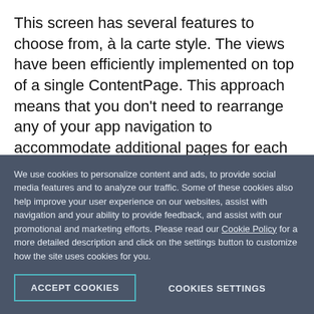This screen has several features to choose from, à la carte style. The views have been efficiently implemented on top of a single ContentPage. This approach means that you don't need to rearrange any of your app navigation to accommodate additional pages for each view.
Let me take you though the available Login Screen options.
We use cookies to personalize content and ads, to provide social media features and to analyze our traffic. Some of these cookies also help improve your user experience on our websites, assist with navigation and your ability to provide feedback, and assist with our promotional and marketing efforts. Please read our Cookie Policy for a more detailed description and click on the settings button to customize how the site uses cookies for you.